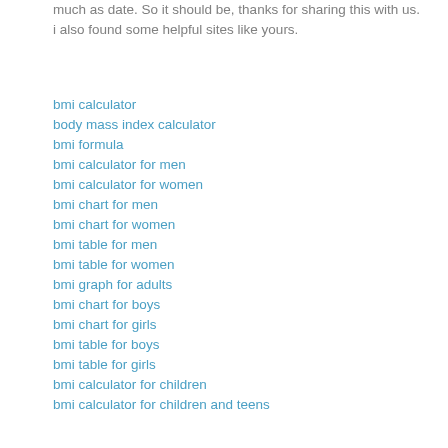much as date. So it should be, thanks for sharing this with us.
i also found some helpful sites like yours.
bmi calculator
body mass index calculator
bmi formula
bmi calculator for men
bmi calculator for women
bmi chart for men
bmi chart for women
bmi table for men
bmi table for women
bmi graph for adults
bmi chart for boys
bmi chart for girls
bmi table for boys
bmi table for girls
bmi calculator for children
bmi calculator for children and teens